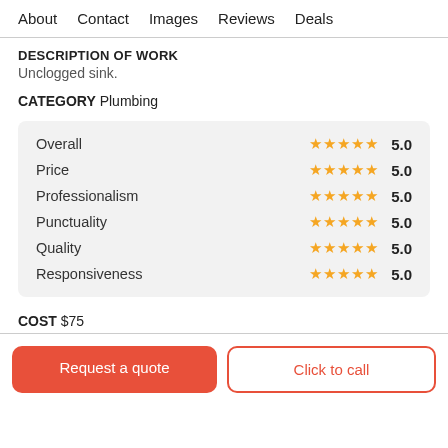About   Contact   Images   Reviews   Deals
DESCRIPTION OF WORK
Unclogged sink.
CATEGORY Plumbing
| Category | Stars | Score |
| --- | --- | --- |
| Overall | ★★★★★ | 5.0 |
| Price | ★★★★★ | 5.0 |
| Professionalism | ★★★★★ | 5.0 |
| Punctuality | ★★★★★ | 5.0 |
| Quality | ★★★★★ | 5.0 |
| Responsiveness | ★★★★★ | 5.0 |
COST $75
Request a quote
Click to call